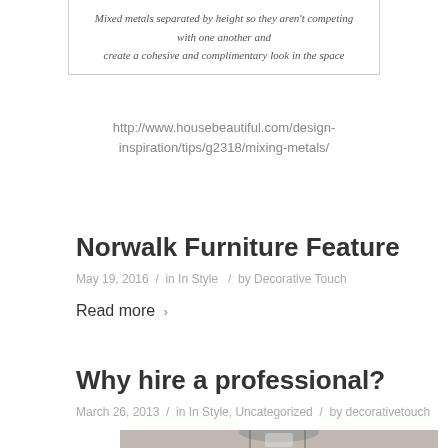Mixed metals separated by height so they aren't competing with one another and create a cohesive and complimentary look in the space
http://www.housebeautiful.com/design-inspiration/tips/g2318/mixing-metals/
Norwalk Furniture Feature
May 19, 2016 / in In Style / by Decorative Touch
Read more >
Why hire a professional?
March 26, 2013 / in In Style, Uncategorized / by decorativetouch
[Figure (photo): Bottom portion of a photo showing a chandelier in an interior space, partially visible at the bottom of the page]